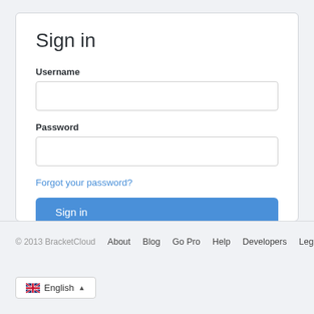Sign in
Username
Password
Forgot your password?
Sign in
© 2013 BracketCloud  About  Blog  Go Pro  Help  Developers  Legal
English